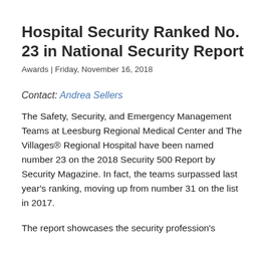Hospital Security Ranked No. 23 in National Security Report
Awards | Friday, November 16, 2018
Contact: Andrea Sellers
The Safety, Security, and Emergency Management Teams at Leesburg Regional Medical Center and The Villages® Regional Hospital have been named number 23 on the 2018 Security 500 Report by Security Magazine. In fact, the teams surpassed last year's ranking, moving up from number 31 on the list in 2017.
The report showcases the security profession's